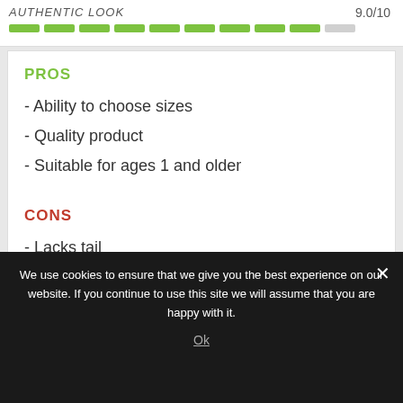AUTHENTIC LOOK    9.0/10
[Figure (other): Rating bar showing 9 out of 10 green segments and 1 gray segment]
PROS
- Ability to choose sizes
- Quality product
- Suitable for ages 1 and older
CONS
- Lacks tail
🛒 CLICK TO CHECK AMAZON PRICE
We use cookies to ensure that we give you the best experience on our website. If you continue to use this site we will assume that you are happy with it.
Ok